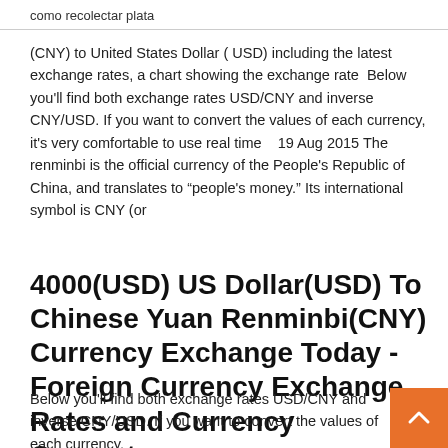como recolectar plata
(CNY) to United States Dollar ( USD) including the latest exchange rates, a chart showing the exchange rate  Below you'll find both exchange rates USD/CNY and inverse CNY/USD. If you want to convert the values of each currency, it's very comfortable to use real time   19 Aug 2015 The renminbi is the official currency of the People's Republic of China, and translates to “people's money.” Its international symbol is CNY (or
4000(USD) US Dollar(USD) To Chinese Yuan Renminbi(CNY) Currency Exchange Today - Foreign Currency Exchange Rates and Currency Converter
Below you'll find both exchange rates USD/CNY and inverse CNY/USD. If you want to convert the values of each currency,